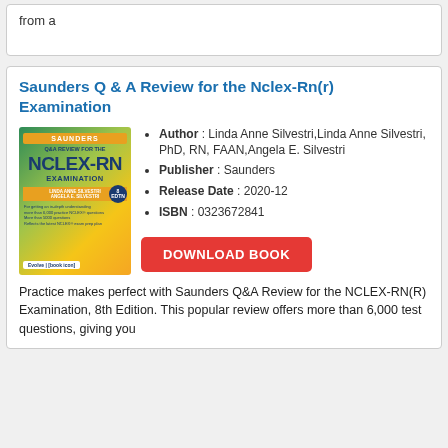from a
Saunders Q & A Review for the Nclex-Rn(r) Examination
[Figure (illustration): Book cover of Saunders Q&A Review for the NCLEX-RN Examination, 8th Edition, by Linda Anne Silvestri and Angela E. Silvestri, published by Saunders/Elsevier]
Author : Linda Anne Silvestri,Linda Anne Silvestri, PhD, RN, FAAN,Angela E. Silvestri
Publisher : Saunders
Release Date : 2020-12
ISBN : 0323672841
DOWNLOAD BOOK
Practice makes perfect with Saunders Q&A Review for the NCLEX-RN(R) Examination, 8th Edition. This popular review offers more than 6,000 test questions, giving you